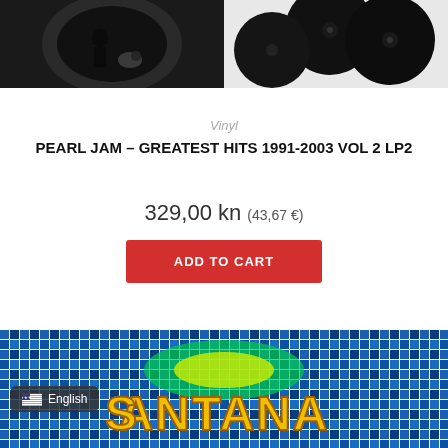[Figure (photo): Two photos side by side: left shows a black and white image of Pearl Jam album art with a figure, right shows black vinyl records stacked.]
Vinyl
PEARL JAM – GREATEST HITS 1991-2003 VOL 2 LP2
329,00 kn (43,67 €)
ADD TO CART
[Figure (photo): Colorful psychedelic album art for Santana with blue mosaic background and yellow stylized text reading SANTANA.]
English